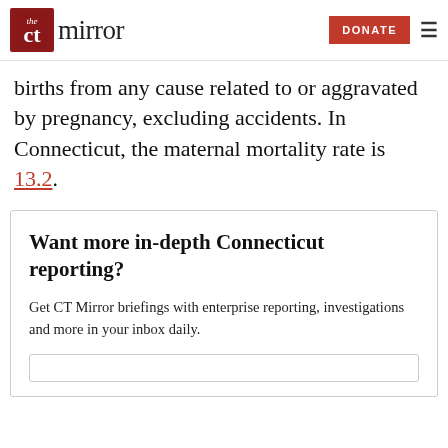CT Mirror | DONATE
births from any cause related to or aggravated by pregnancy, excluding accidents. In Connecticut, the maternal mortality rate is 13.2.
Want more in-depth Connecticut reporting?
Get CT Mirror briefings with enterprise reporting, investigations and more in your inbox daily.